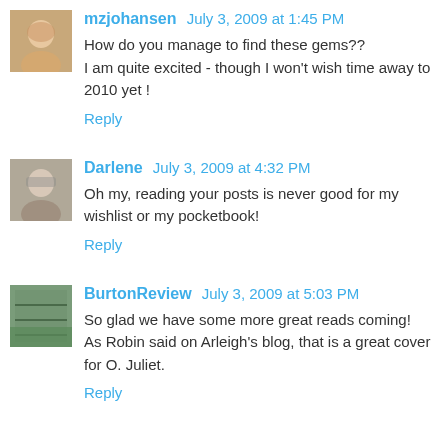mzjohansen July 3, 2009 at 1:45 PM
How do you manage to find these gems??
I am quite excited - though I won't wish time away to 2010 yet !
Reply
Darlene July 3, 2009 at 4:32 PM
Oh my, reading your posts is never good for my wishlist or my pocketbook!
Reply
BurtonReview July 3, 2009 at 5:03 PM
So glad we have some more great reads coming!
As Robin said on Arleigh's blog, that is a great cover for O. Juliet.
Reply